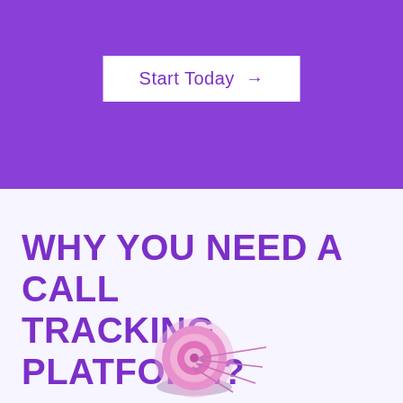Start Today →
WHY YOU NEED A CALL TRACKING PLATFORM?
[Figure (illustration): A target/bullseye illustration with arrows hitting it, rendered in pink and purple tones, with a shadow beneath it.]